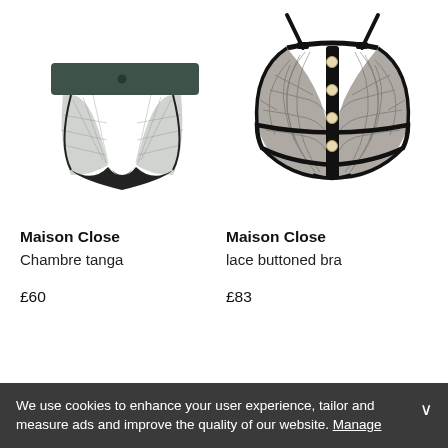[Figure (photo): Product photo of Maison Close Chambre tanga, a dark grey/black thong with mesh body and wide waistband]
Maison Close
Chambre tanga

£60
[Figure (photo): Product photo of Maison Close lace buttoned bra, black lace open-cup style bra with gold button front closure and adjustable straps]
Maison Close
lace buttoned bra

£83
We use cookies to enhance your user experience, tailor and measure ads and improve the quality of our website. Manage